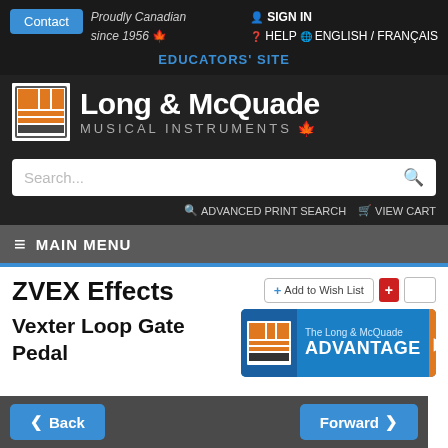Contact | Proudly Canadian since 1956 | SIGN IN | HELP | ENGLISH / FRANÇAIS
EDUCATORS' SITE
[Figure (logo): Long & McQuade Musical Instruments logo with orange grid icon and maple leaf]
Search...
ADVANCED PRINT SEARCH  VIEW CART
≡ MAIN MENU
ZVEX Effects
Vexter Loop Gate Pedal
+ Add to Wish List
[Figure (illustration): The Long & McQuade Advantage banner with orange logo and orange arrow]
◀ Back    Forward ▶